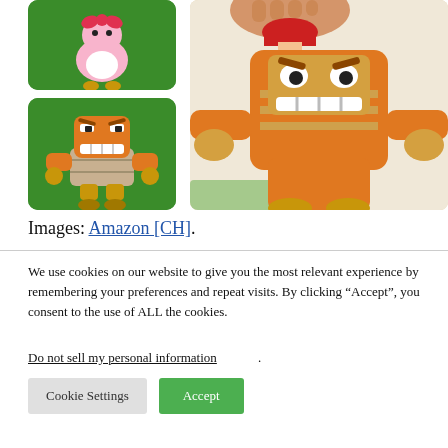[Figure (photo): LEGO Mario themed minifigures: top-left shows a pink bird/Birdo-like figure on green background; bottom-left shows an orange Bowser Jr./Boom Boom-style figure on green background; right side shows a large close-up photo of a person holding an orange LEGO Bowser or similar character figure.]
Images: Amazon [CH].
We use cookies on our website to give you the most relevant experience by remembering your preferences and repeat visits. By clicking “Accept”, you consent to the use of ALL the cookies.
Do not sell my personal information.
Cookie Settings  Accept